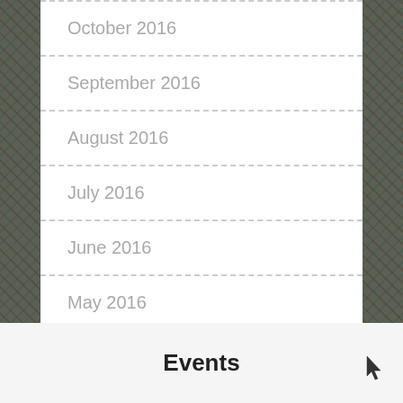October 2016
September 2016
August 2016
July 2016
June 2016
May 2016
Events